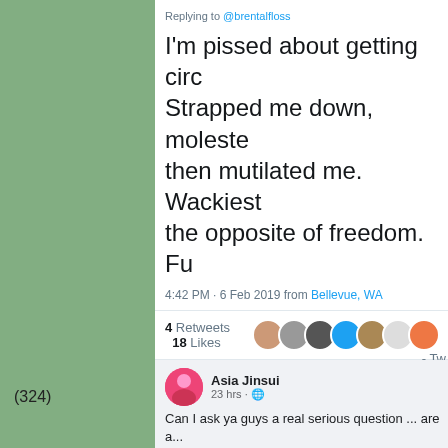Replying to @brentalfloss
I'm pissed about getting circ... Strapped me down, moleste... then mutilated me. Wackiest... the opposite of freedom. Fu...
4:42 PM - 6 Feb 2019 from Bellevue, WA
4 Retweets  18 Likes
3  4  18
- Tw
(324)
Asia Jinsui
23 hrs
Can I ask ya guys a real serious question ... are a... fact that your parents circumcised you at birth wit...
24